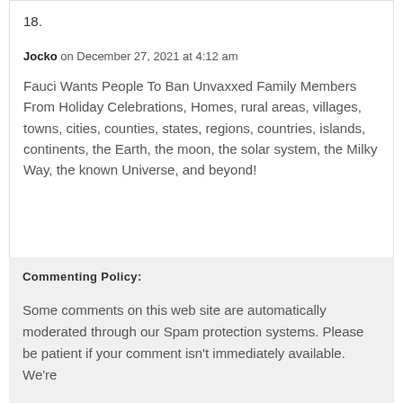18.
Jocko on December 27, 2021 at 4:12 am
Fauci Wants People To Ban Unvaxxed Family Members From Holiday Celebrations, Homes, rural areas, villages, towns, cities, counties, states, regions, countries, islands, continents, the Earth, the moon, the solar system, the Milky Way, the known Universe, and beyond!
Commenting Policy:
Some comments on this web site are automatically moderated through our Spam protection systems. Please be patient if your comment isn't immediately available. We're